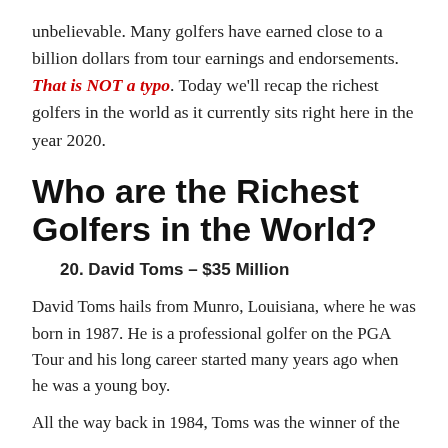unbelievable. Many golfers have earned close to a billion dollars from tour earnings and endorsements. That is NOT a typo. Today we'll recap the richest golfers in the world as it currently sits right here in the year 2020.
Who are the Richest Golfers in the World?
20. David Toms – $35 Million
David Toms hails from Munro, Louisiana, where he was born in 1987. He is a professional golfer on the PGA Tour and his long career started many years ago when he was a young boy.
All the way back in 1984, Toms was the winner of the